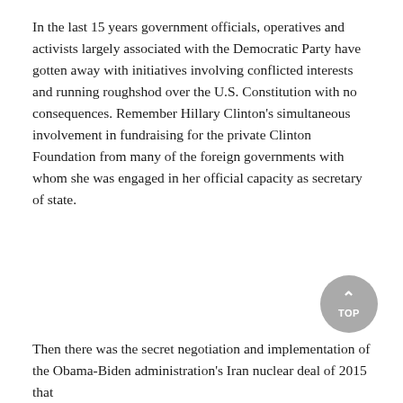In the last 15 years government officials, operatives and activists largely associated with the Democratic Party have gotten away with initiatives involving conflicted interests and running roughshod over the U.S. Constitution with no consequences. Remember Hillary Clinton's simultaneous involvement in fundraising for the private Clinton Foundation from many of the foreign governments with whom she was engaged in her official capacity as secretary of state.
[Figure (other): A circular grey button with an upward-pointing chevron arrow and the label TOP]
Then there was the secret negotiation and implementation of the Obama-Biden administration's Iran nuclear deal of 2015 that...